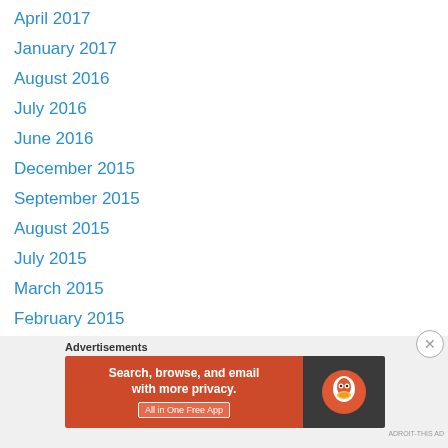April 2017
January 2017
August 2016
July 2016
June 2016
December 2015
September 2015
August 2015
July 2015
March 2015
February 2015
January 2015
December 2014
November 2014
October 2014
September 2014
[Figure (screenshot): DuckDuckGo advertisement banner: 'Search, browse, and email with more privacy. All in One Free App' on an orange background with DuckDuckGo logo on dark background.]